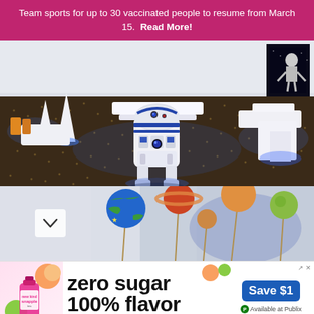Team sports for up to 30 vaccinated people to resume from March 15.  Read More!
[Figure (photo): Indoor event venue with R2-D2 robot in center, white furniture with blue LED lighting, dark patterned carpet, space-themed party decorations including astronaut poster]
[Figure (photo): Close-up of colorful planet-themed cake pops on sticks, decorated to look like Earth, Saturn, and other planets, with white background and blue lighting]
[Figure (infographic): Advertisement banner for Snapple zero sugar 100% flavor — Save $1, Available at Publix]